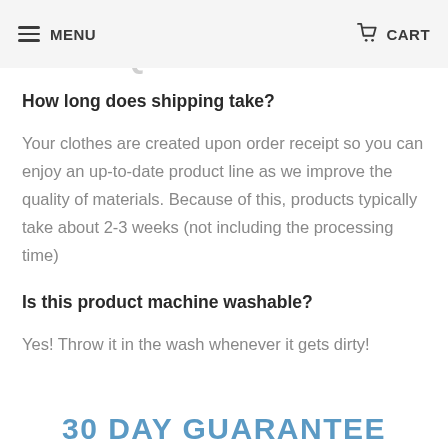MENU  CART
FREQUENTLY ASKED QUESTIONS
How long does shipping take?
Your clothes are created upon order receipt so you can enjoy an up-to-date product line as we improve the quality of materials. Because of this, products typically take about 2-3 weeks (not including the processing time)
Is this product machine washable?
Yes! Throw it in the wash whenever it gets dirty!
30 DAY GUARANTEE